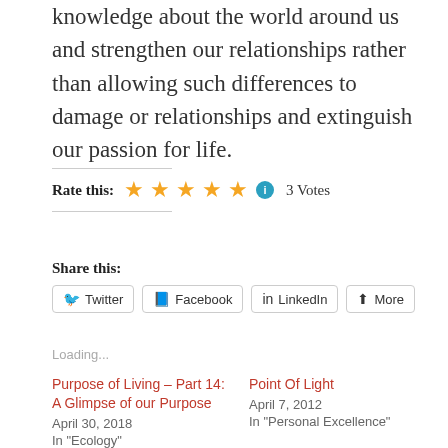knowledge about the world around us and strengthen our relationships rather than allowing such differences to damage or relationships and extinguish our passion for life.
Rate this: ★★★★★ ℹ 3 Votes
Share this:
Twitter  Facebook  LinkedIn  More
Loading...
Purpose of Living – Part 14: A Glimpse of our Purpose
April 30, 2018
In "Ecology"
Point Of Light
April 7, 2012
In "Personal Excellence"